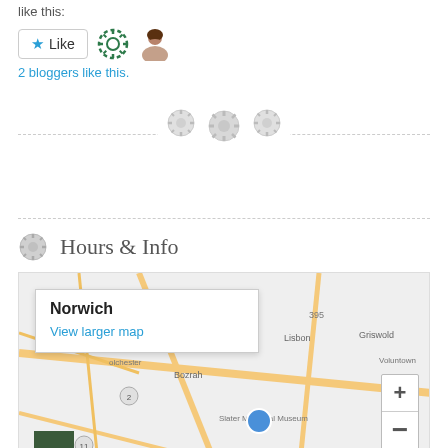like this:
[Figure (screenshot): Like button with star icon, two blogger avatar icons]
2 bloggers like this.
[Figure (other): Decorative divider with three gear/button icons centered on a dashed line]
[Figure (other): Second dashed horizontal divider line]
Hours & Info
[Figure (map): Google Map showing Norwich area with popup: Norwich, View larger map. Shows Lisbon, Griswold, Voluntown, Bozrah, Slater Memorial Museum, zoom controls.]